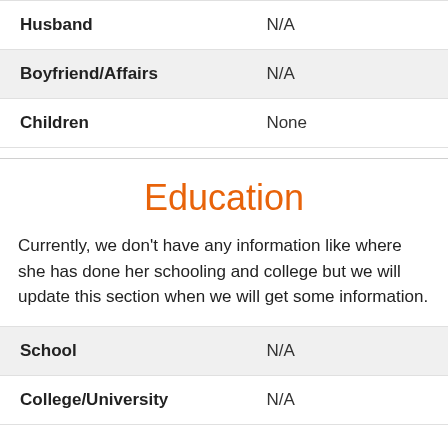| Field | Value |
| --- | --- |
| Husband | N/A |
| Boyfriend/Affairs | N/A |
| Children | None |
Education
Currently, we don’t have any information like where she has done her schooling and college but we will update this section when we will get some information.
| Field | Value |
| --- | --- |
| School | N/A |
| College/University | N/A |